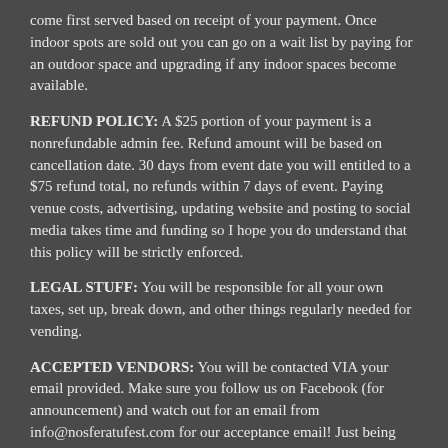come first served based on receipt of your payment. Once indoor spots are sold out you can go on a wait list by paying for an outdoor space and upgrading if any indoor spaces become available.
REFUND POLICY: A $25 portion of your payment is a nonrefundable admin fee. Refund amount will be based on cancellation date. 30 days from event date you will entitled to a $75 refund total, no refunds within 7 days of event. Paying venue costs, advertising, updating website and posting to social media takes time and funding so I hope you do understand that this policy will be strictly enforced.
LEGAL STUFF: You will be responsible for all your own taxes, set up, break down, and other things regularly needed for vending.
ACCEPTED VENDORS: You will be contacted VIA your email provided. Make sure you follow us on Facebook (for announcement) and watch out for an email from info@nosferatufest.com for our acceptance email! Just being accepted does not secure you a spot, payment does! First paid first secured on vending spots.
PARKING: You will be able to pull your cars close to the venue for unload and will then need to find parking away from the venue to reduce clutter/make it easier for other vendors to unload as well. There is plenty of free parking in and around the Come & Take It and Emo's parking lot.